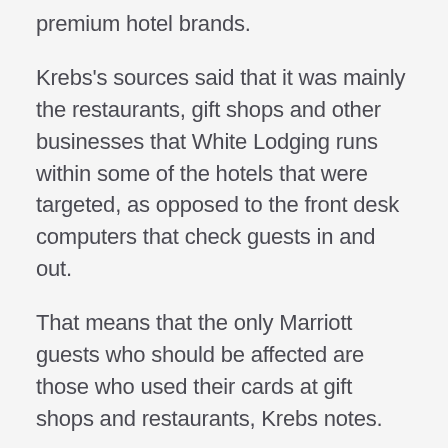premium hotel brands.
Krebs's sources said that it was mainly the restaurants, gift shops and other businesses that White Lodging runs within some of the hotels that were targeted, as opposed to the front desk computers that check guests in and out.
That means that the only Marriott guests who should be affected are those who used their cards at gift shops and restaurants, Krebs notes.
White Lodging declined to give details, citing an ongoing investigation.
Marriott issued a statement saying that “one of its franchisees has experienced unusual fraud patterns in connection with its systems that process credit card